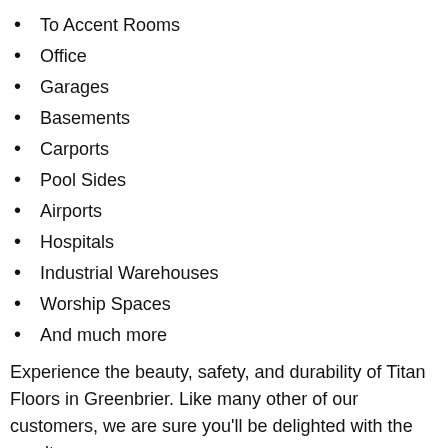To Accent Rooms
Office
Garages
Basements
Carports
Pool Sides
Airports
Hospitals
Industrial Warehouses
Worship Spaces
And much more
Experience the beauty, safety, and durability of Titan Floors in Greenbrier. Like many other of our customers, we are sure you’ll be delighted with the results.
GET A QUOTE TODAY